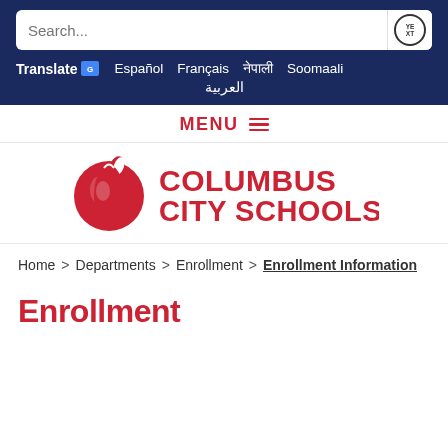Search... [Yext search button]
Translate | Español | Français | नेपाली | Soomaali | العربية
MENU
[Figure (logo): Columbus City Schools logo with apple icon and red text]
Home > Departments > Enrollment > Enrollment Information
Enrollment